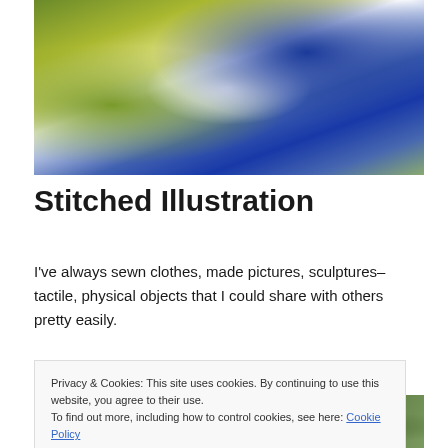[Figure (photo): Close-up photograph of stitched fabric/textile artwork with blue, white, yellow, and green threads. Text 'TORONTO' partially visible in upper right.]
Stitched Illustration
I've always sewn clothes, made pictures, sculptures–tactile, physical objects that I could share with others pretty easily.
[Figure (photo): Close-up photograph of stitched textile with text 'QUEENS PARK' visible in dark stitching on light fabric background.]
Privacy & Cookies: This site uses cookies. By continuing to use this website, you agree to their use.
To find out more, including how to control cookies, see here: Cookie Policy
Close and accept